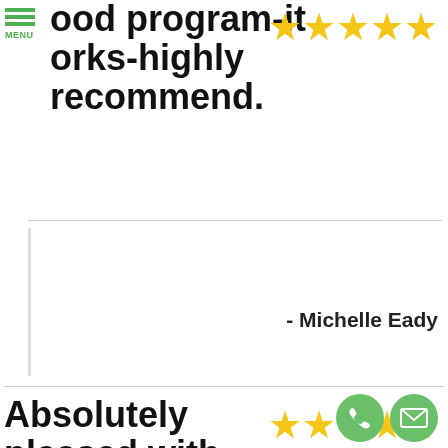[Figure (screenshot): Menu hamburger icon with green lines and MENU text label]
ood program-it works-highly recommend.
[Figure (other): Five gold stars rating]
- Michelle Eady
Absolutely pleased with this company.
[Figure (other): Five gold stars rating]
Absolutely pleased with this company. More than accommodating and very professional.
- Andrew Dodge
[Figure (other): Green phone button icon]
[Figure (other): Green email/envelope button icon]